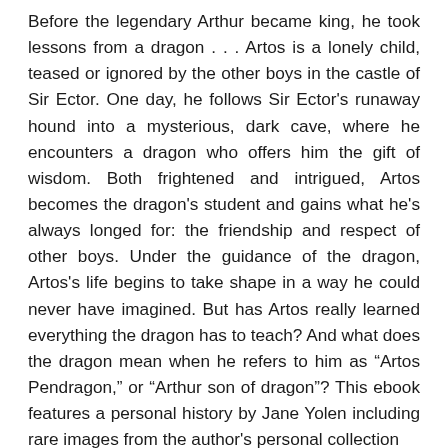Before the legendary Arthur became king, he took lessons from a dragon . . . Artos is a lonely child, teased or ignored by the other boys in the castle of Sir Ector. One day, he follows Sir Ector's runaway hound into a mysterious, dark cave, where he encounters a dragon who offers him the gift of wisdom. Both frightened and intrigued, Artos becomes the dragon's student and gains what he's always longed for: the friendship and respect of other boys. Under the guidance of the dragon, Artos's life begins to take shape in a way he could never have imagined. But has Artos really learned everything the dragon has to teach? And what does the dragon mean when he refers to him as “Artos Pendragon,” or “Arthur son of dragon”? This ebook features a personal history by Jane Yolen including rare images from the author's personal collection.